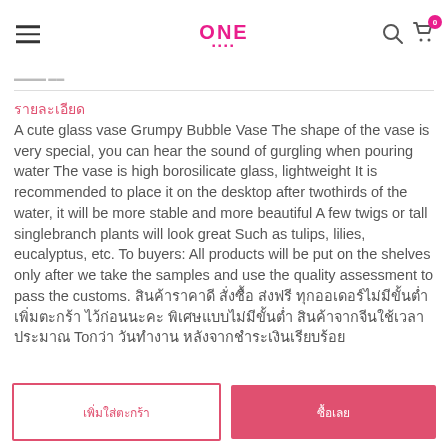ONE
รายละเอียด
A cute glass vase Grumpy Bubble Vase The shape of the vase is very special, you can hear the sound of gurgling when pouring water The vase is high borosilicate glass, lightweight It is recommended to place it on the desktop after twothirds of the water, it will be more stable and more beautiful A few twigs or tall singlebranch plants will look great Such as tulips, lilies, eucalyptus, etc. To buyers: All products will be put on the shelves only after we take the samples and use the quality assessment to pass the customs. สินค้าราคาดี สั่งซื้อ ส่งฟรี ทุกออเดอร์ไม่มีขั้นต่ำ เพิ่มตะกร้า ไว้ก่อนนะคะ พิเศษแบบไม่มีขั้นต่ำ สินค้าจากจีนใช้เวลาประมาณ Toกว่า วันทำงาน หลังจากชำระเงินเรียบร้อย
เพิ่มใส่ตะกร้า
ซื้อเลย